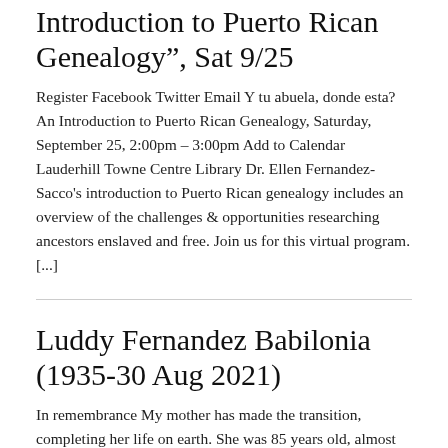Introduction to Puerto Rican Genealogy", Sat 9/25
Register Facebook Twitter Email Y tu abuela, donde esta? An Introduction to Puerto Rican Genealogy, Saturday, September 25, 2:00pm – 3:00pm Add to Calendar Lauderhill Towne Centre Library Dr. Ellen Fernandez-Sacco's introduction to Puerto Rican genealogy includes an overview of the challenges & opportunities researching ancestors enslaved and free. Join us for this virtual program. [...]
Luddy Fernandez Babilonia (1935-30 Aug 2021)
In remembrance My mother has made the transition, completing her life on earth. She was 85 years old, almost making it to her 86th; if she had lived just a little